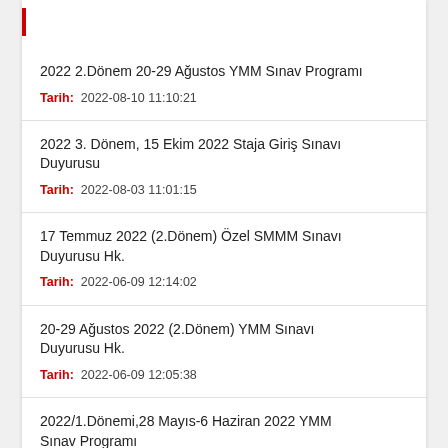2022 2.Dönem 20-29 Ağustos YMM Sınav Programı
Tarih: 2022-08-10 11:10:21
2022 3. Dönem, 15 Ekim 2022 Staja Giriş Sınavı Duyurusu
Tarih: 2022-08-03 11:01:15
17 Temmuz 2022 (2.Dönem) Özel SMMM Sınavı Duyurusu Hk.
Tarih: 2022-06-09 12:14:02
20-29 Ağustos 2022 (2.Dönem) YMM Sınavı Duyurusu Hk.
Tarih: 2022-06-09 12:05:38
2022/1.Dönemi,28 Mayıs-6 Haziran 2022 YMM Sınav Programı